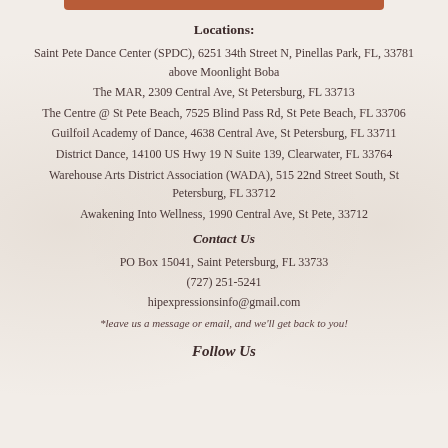Locations:
Saint Pete Dance Center (SPDC), 6251 34th Street N, Pinellas Park, FL, 33781 above Moonlight Boba
The MAR, 2309 Central Ave, St Petersburg, FL 33713
The Centre @ St Pete Beach, 7525 Blind Pass Rd, St Pete Beach, FL 33706
Guilfoil Academy of Dance, 4638 Central Ave, St Petersburg, FL 33711
District Dance, 14100 US Hwy 19 N Suite 139, Clearwater, FL 33764
Warehouse Arts District Association (WADA), 515 22nd Street South, St Petersburg, FL 33712
Awakening Into Wellness, 1990 Central Ave, St Pete, 33712
Contact Us
PO Box 15041, Saint Petersburg, FL 33733
(727) 251-5241
hipexpressionsinfo@gmail.com
*leave us a message or email, and we'll get back to you!
Follow Us